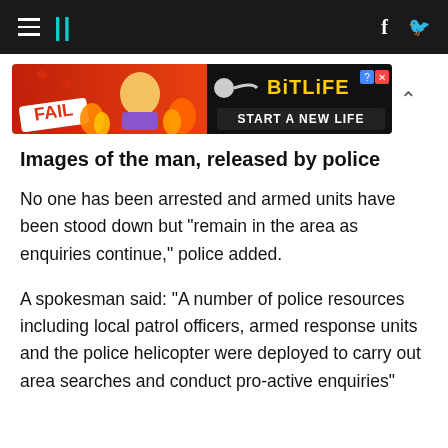HuffPost navigation with hamburger menu, logo, Facebook and Twitter icons
[Figure (other): Advertisement banner: FAIL - BitLife START A NEW LIFE game ad with animated character and flames]
Images of the man, released by police
No one has been arrested and armed units have been stood down but "remain in the area as enquiries continue," police added.
A spokesman said: "A number of police resources including local patrol officers, armed response units and the police helicopter were deployed to carry out area searches and conduct pro-active enquiries"